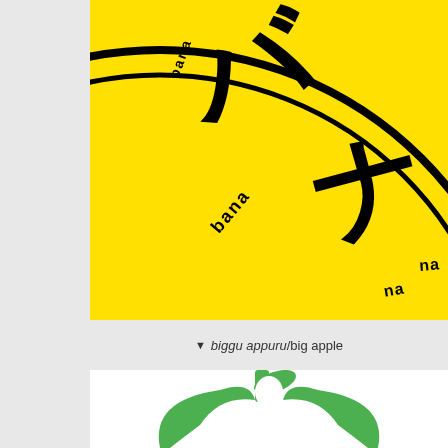[Figure (illustration): Close-up of a yellow circular graphic with large Japanese katakana characters (バナナ) in black, arranged in a circular/stamp-like design on a bright yellow background]
▼ biggu appuru/big apple
[Figure (illustration): Partial view of a green apple illustration on white background, showing the top portion with a green stem/leaf shape]